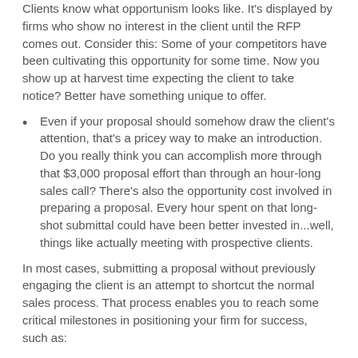Clients know what opportunism looks like. It's displayed by firms who show no interest in the client until the RFP comes out. Consider this: Some of your competitors have been cultivating this opportunity for some time. Now you show up at harvest time expecting the client to take notice? Better have something unique to offer.
Even if your proposal should somehow draw the client's attention, that's a pricey way to make an introduction. Do you really think you can accomplish more through that $3,000 proposal effort than through an hour-long sales call? There's also the opportunity cost involved in preparing a proposal. Every hour spent on that long-shot submittal could have been better invested in...well, things like actually meeting with prospective clients.
In most cases, submitting a proposal without previously engaging the client is an attempt to shortcut the normal sales process. That process enables you to reach some critical milestones in positioning your firm for success, such as: